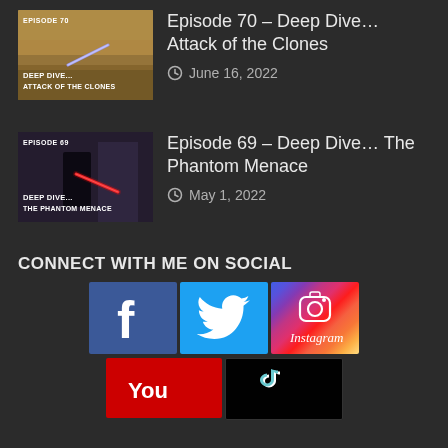[Figure (illustration): Episode 70 thumbnail - Deep Dive Attack of the Clones, desert battle scene background with lightsaber]
Episode 70 – Deep Dive… Attack of the Clones
June 16, 2022
[Figure (illustration): Episode 69 thumbnail - Deep Dive The Phantom Menace, dark figure with red lightsaber]
Episode 69 – Deep Dive… The Phantom Menace
May 1, 2022
CONNECT WITH ME ON SOCIAL
[Figure (illustration): Facebook logo button (blue background with white f icon)]
[Figure (illustration): Twitter logo button (light blue background with white bird icon)]
[Figure (illustration): Instagram logo button (gradient background with camera icon and Instagram text)]
[Figure (illustration): YouTube logo button (red background with You text visible)]
[Figure (illustration): TikTok logo button (black background with TikTok icon)]